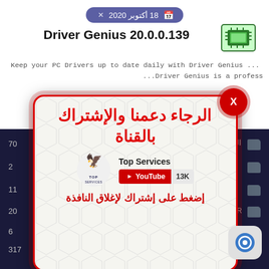18 أكتوبر 2020
Driver Genius 20.0.0.139
Keep your PC Drivers up to date daily with Driver Genius ...
...Driver Genius is a profess
[Figure (screenshot): Popup overlay with Arabic text 'الرجاء دعمنا والإشتراك بالقناة', Top Services YouTube channel logo and subscribe button with 13K subscribers, and subscribe instruction in Arabic]
AUDIO EDITOR
BROWSER